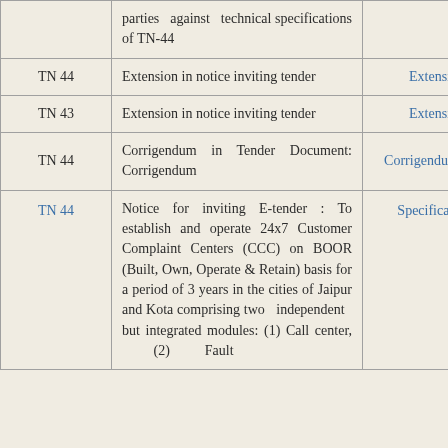| TN No. | Description | Type |
| --- | --- | --- |
|  | parties against technical specifications of TN-44 |  |
| TN 44 | Extension in notice inviting tender | Extension |
| TN 43 | Extension in notice inviting tender | Extension |
| TN 44 | Corrigendum in Tender Document: Corrigendum | Corrigendum No.1 |
| TN 44 | Notice for inviting E-tender : To establish and operate 24x7 Customer Complaint Centers (CCC) on BOOR (Built, Own, Operate & Retain) basis for a period of 3 years in the cities of Jaipur and Kota comprising two independent but integrated modules: (1) Call center, (2) Fault ... | Specifications |